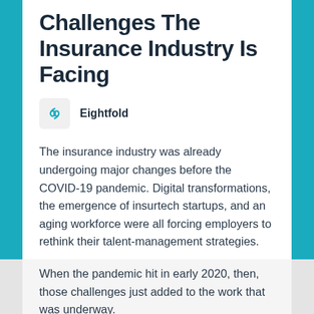Challenges The Insurance Industry Is Facing
Eightfold
The insurance industry was already undergoing major changes before the COVID-19 pandemic. Digital transformations, the emergence of insurtech startups, and an aging workforce were all forcing employers to rethink their talent-management strategies.
When the pandemic hit in early 2020, then, those challenges just added to the work that was underway.